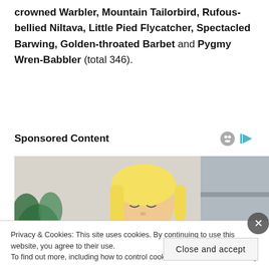crowned Warbler, Mountain Tailorbird, Rufous-bellied Niltava, Little Pied Flycatcher, Spectacled Barwing, Golden-throated Barbet and Pygmy Wren-Babbler (total 346).
Sponsored Content
[Figure (photo): A woman with blonde hair wearing a yellow knit sweater, looking downward, with a plant and shelves in the background.]
Privacy & Cookies: This site uses cookies. By continuing to use this website, you agree to their use.
To find out more, including how to control cookies, see here: Cookie Policy
Close and accept